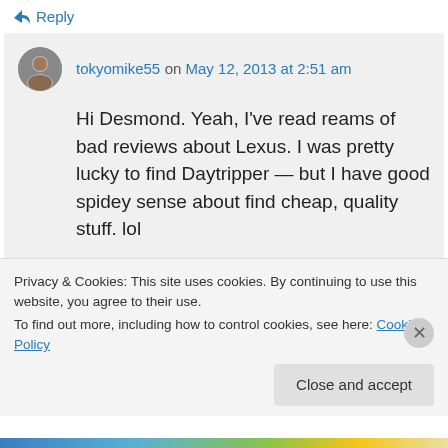↳ Reply
tokyomike55 on May 12, 2013 at 2:51 am
Hi Desmond. Yeah, I've read reams of bad reviews about Lexus. I was pretty lucky to find Daytripper — but I have good spidey sense about find cheap, quality stuff. lol

And one thing about customer service — something else about Daytripper, they even
Privacy & Cookies: This site uses cookies. By continuing to use this website, you agree to their use.
To find out more, including how to control cookies, see here: Cookie Policy
Close and accept